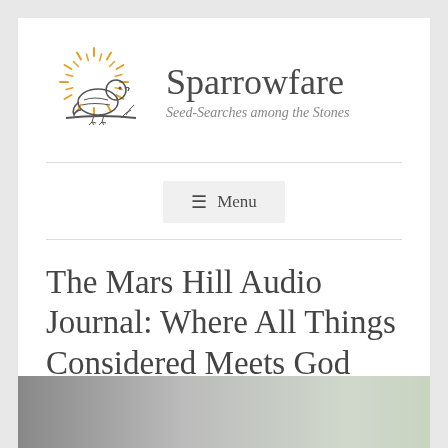[Figure (logo): Sparrowfare blog logo: a sparrow perched on a branch with a sunburst behind it, beside the site name 'Sparrowfare' and tagline 'Seed-Searches among the Stones']
≡  Menu
The Mars Hill Audio Journal: Where All Things Considered Meets God
[Figure (photo): Partial photo visible at bottom of page, blurred/cropped]